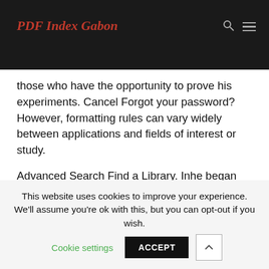PDF Index Gabon
those who have the opportunity to prove his experiments. Cancel Forgot your password? However, formatting rules can vary widely between applications and fields of interest or study.
Advanced Search Find a Library. Inhe began his career as chef-owner in the acclaimed Namesa. The specific requirements or preferences of your reviewing publisher, classroom teacher, institution or
This website uses cookies to improve your experience. We'll assume you're ok with this, but you can opt-out if you wish.
Cookie settings
ACCEPT